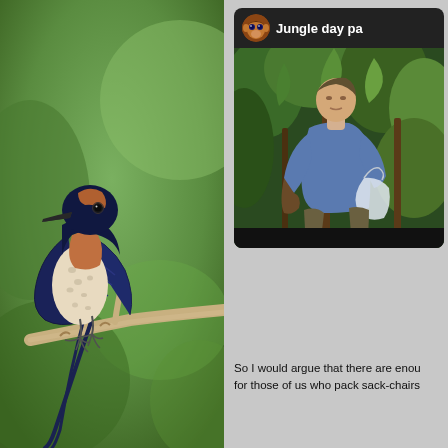[Figure (photo): A bird (swallow/martin species) perched on a branch, with dark blue-black upper parts, rusty-orange throat, and pale speckled underparts, against a green blurred background.]
[Figure (screenshot): A social media or video platform card showing a channel icon (monkey/primate avatar), channel name 'Jungle day pa' (truncated), and a video thumbnail of a man in a blue shirt holding a plastic bag in a jungle setting.]
So I would argue that there are enou for those of us who pack sack-chairs